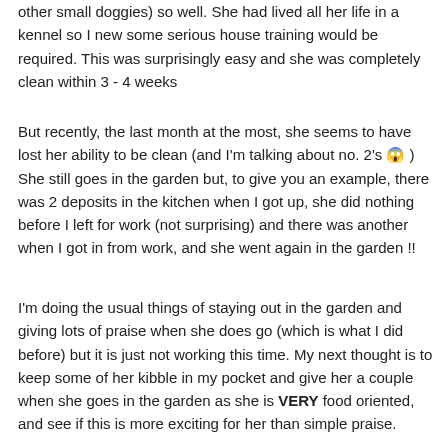other small doggies) so well. She had lived all her life in a kennel so I new some serious house training would be required. This was surprisingly easy and she was completely clean within 3 - 4 weeks
But recently, the last month at the most, she seems to have lost her ability to be clean (and I'm talking about no. 2's 😱 ) She still goes in the garden but, to give you an example, there was 2 deposits in the kitchen when I got up, she did nothing before I left for work (not surprising) and there was another when I got in from work, and she went again in the garden !!
I'm doing the usual things of staying out in the garden and giving lots of praise when she does go (which is what I did before) but it is just not working this time. My next thought is to keep some of her kibble in my pocket and give her a couple when she goes in the garden as she is VERY food oriented, and see if this is more exciting for her than simple praise.
I'm doing some other things too...